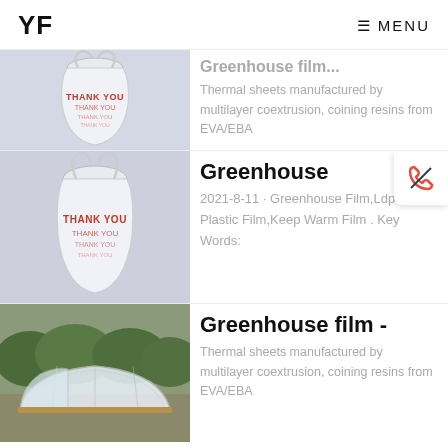YF  ≡ MENU
[Figure (photo): White plastic thank-you bag, partially cut at top]
Greenhouse film...
Thermal sheets manufactured by multilayer coextrusion, coining resins from EVA/EBA
[Figure (photo): White plastic thank-you bag on gray background]
Greenhouse
2021-8-11 · Greenhouse Film,Ldpe Plastic Film,Keep Warm Film . Key Words:
[Figure (photo): Small greenhouse tunnel in garden with clear plastic film cover]
Greenhouse film -
Thermal sheets manufactured by multilayer coextrusion, coining resins from EVA/EBA